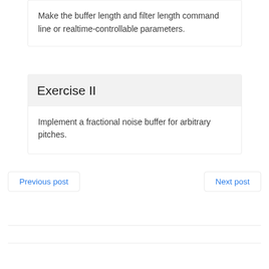Make the buffer length and filter length command line or realtime-controllable parameters.
Exercise II
Implement a fractional noise buffer for arbitrary pitches.
Previous post
Next post